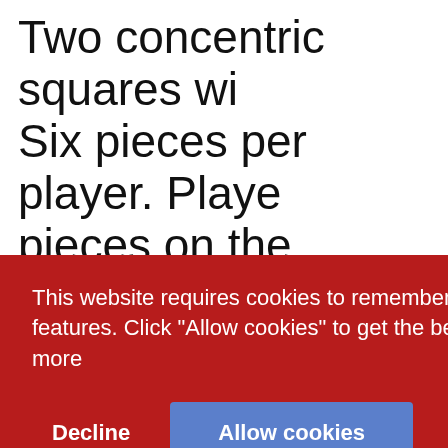Two concentric squares wi… Six pieces per player. Playe… pieces on the intersections… places three of their pieces… the opponent's pieces from… placed, players may take tu… ttem… r is
This website requires cookies to remember your preferences and enable certain features. Click "Allow cookies" to get the best experience on our website.  Learn more
Decline
Allow cookies